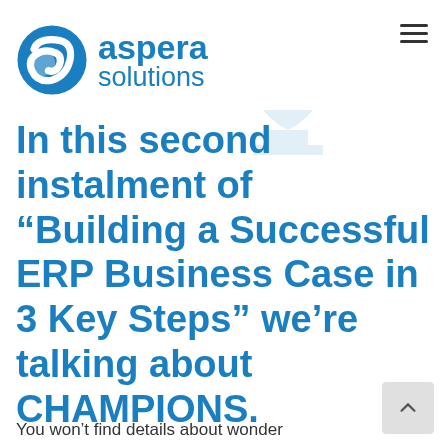[Figure (logo): Aspera Solutions logo with circular blue icon and text 'aspera solutions']
In this second instalment of “Building a Successful ERP Business Case in 3 Key Steps” we’re talking about CHAMPIONS.
You won’t find details about wonder